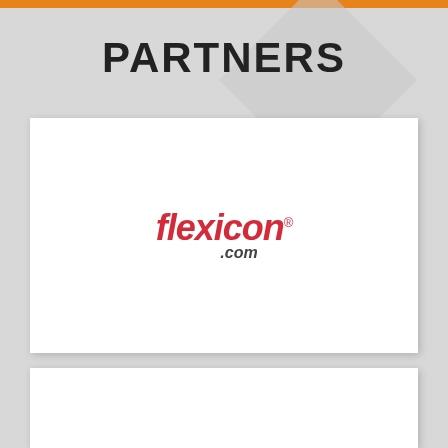PARTNERS
[Figure (logo): Flexicon.com logo in red italic bold font with registered trademark symbol]
[Figure (logo): Second partner logo card (blank/empty)]